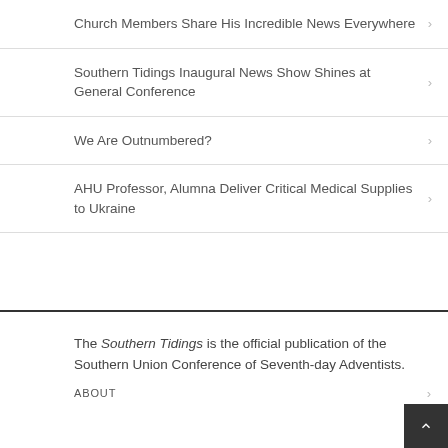Church Members Share His Incredible News Everywhere
Southern Tidings Inaugural News Show Shines at General Conference
We Are Outnumbered?
AHU Professor, Alumna Deliver Critical Medical Supplies to Ukraine
The Southern Tidings is the official publication of the Southern Union Conference of Seventh-day Adventists.
ABOUT